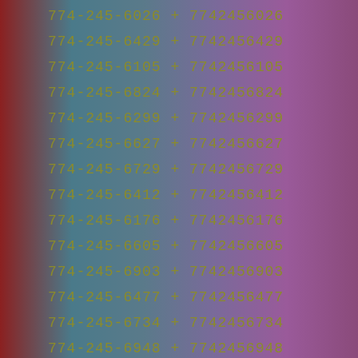774-245-6026 + 7742456026
774-245-6429 + 7742456429
774-245-6105 + 7742456105
774-245-6824 + 7742456824
774-245-6299 + 7742456299
774-245-6627 + 7742456627
774-245-6729 + 7742456729
774-245-6412 + 7742456412
774-245-6176 + 7742456176
774-245-6605 + 7742456605
774-245-6903 + 7742456903
774-245-6477 + 7742456477
774-245-6734 + 7742456734
774-245-6948 + 7742456948
774-245-6819 + 7742456819
774-245-6895 + 7742456895
774-245-6021 + 7742456021
774-245-6645 + 7742456645
774-245-6169 + 7742456169
774-245-6081 + 7742456081
774-245-6493 + 7742456493
774-245-6810 + 7742456810
774-245-6007 + 7742456007